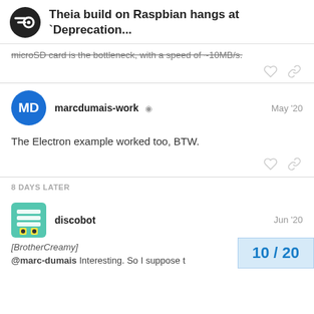Theia build on Raspbian hangs at `Deprecation...
microSD card is the bottleneck, with a speed of ~10MB/s.
marcdumais-work  May '20
The Electron example worked too, BTW.
8 DAYS LATER
discobot  Jun '20
[BrotherCreamy]
@marc-dumais Interesting. So I suppose t
10 / 20